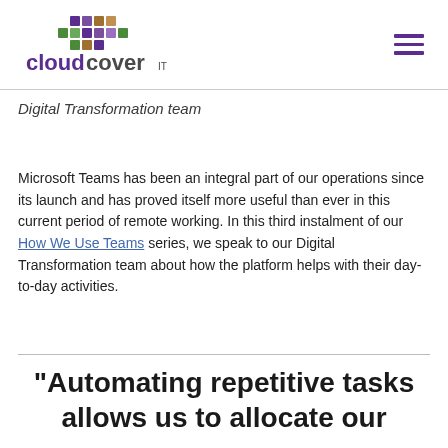cloudcover IT logo and navigation
Digital Transformation team
Microsoft Teams has been an integral part of our operations since its launch and has proved itself more useful than ever in this current period of remote working. In this third instalment of our How We Use Teams series, we speak to our Digital Transformation team about how the platform helps with their day-to-day activities.
“Automating repetitive tasks allows us to allocate our